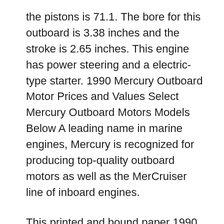the pistons is 71.1. The bore for this outboard is 3.38 inches and the stroke is 2.65 inches. This engine has power steering and a electric-type starter. 1990 Mercury Outboard Motor Prices and Values Select Mercury Outboard Motors Models Below A leading name in marine engines, Mercury is recognized for producing top-quality outboard motors as well as the MerCruiser line of inboard engines.
This printed and bound paper 1990 1991 1992 1993 Mercury 3-275hp Outboard Boat Engine Repair Manual provides detailed service information, step-by-step 1990 Mercury Outboard: 20 assigned downloads, like Mercury Outboard Motors 1990-2002 Service Repair Manual from fixyourcar...